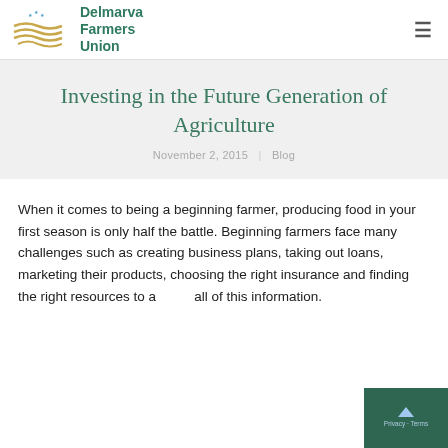Delmarva Farmers Union
Investing in the Future Generation of Agriculture
November 2, 2015 | Blog
When it comes to being a beginning farmer, producing food in your first season is only half the battle. Beginning farmers face many challenges such as creating business plans, taking out loans, marketing their products, choosing the right insurance and finding the right resources to access all of this information.